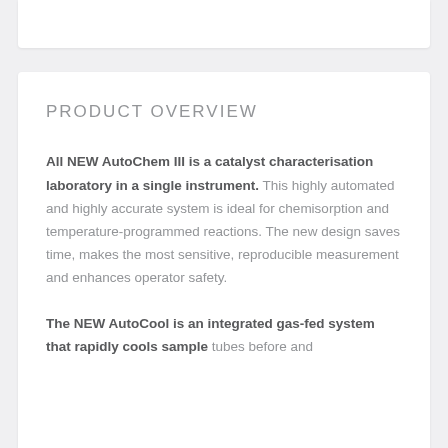PRODUCT OVERVIEW
All NEW AutoChem III is a catalyst characterisation laboratory in a single instrument. This highly automated and highly accurate system is ideal for chemisorption and temperature-programmed reactions. The new design saves time, makes the most sensitive, reproducible measurement and enhances operator safety.
The NEW AutoCool is an integrated gas-fed system that rapidly cools sample tubes before and